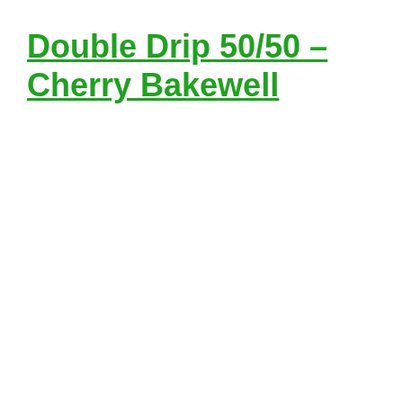Double Drip 50/50 – Cherry Bakewell